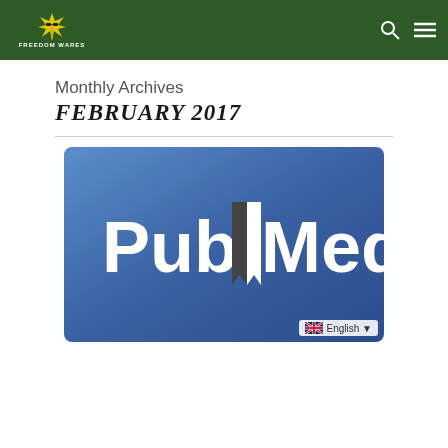Freedom Wares — navigation bar with logo, search icon, and menu icon
Monthly Archives
FEBRUARY 2017
[Figure (logo): PubMed logo on blue gradient background — white bold text reading PubMed with a bookmark icon between Pub and Med]
English ▼